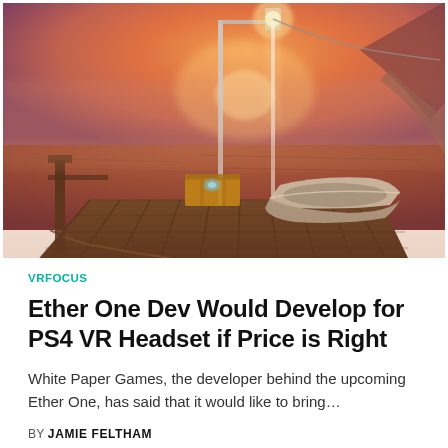[Figure (screenshot): Game screenshot from Ether One showing a wooden dock at sunset with a small boat, lantern post, mysterious glowing object on the dock, and a calm water scene with orange-pink sky]
VRFOCUS
Ether One Dev Would Develop for PS4 VR Headset if Price is Right
White Paper Games, the developer behind the upcoming Ether One, has said that it would like to bring…
BY JAMIE FELTHAM